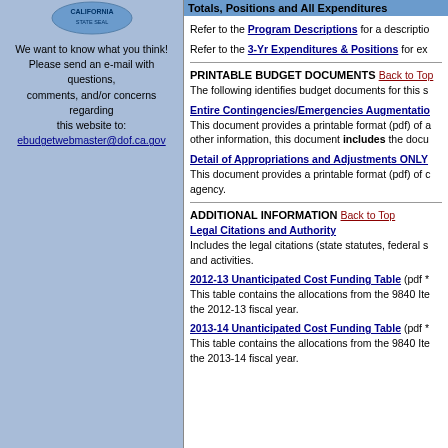[Figure (logo): California state seal/logo partial at top of left panel]
We want to know what you think! Please send an e-mail with questions, comments, and/or concerns regarding this website to: ebudgetwebmaster@dof.ca.gov
Totals, Positions and All Expenditures
Refer to the Program Descriptions for a descriptio
Refer to the 3-Yr Expenditures & Positions for ex
PRINTABLE BUDGET DOCUMENTS Back to Top
The following identifies budget documents for this s
Entire Contingencies/Emergencies Augmentatio
This document provides a printable format (pdf) of a other information, this document includes the docu
Detail of Appropriations and Adjustments ONLY
This document provides a printable format (pdf) of c agency.
ADDITIONAL INFORMATION Back to Top
Legal Citations and Authority
Includes the legal citations (state statutes, federal s and activities.
2012-13 Unanticipated Cost Funding Table (pdf *
This table contains the allocations from the 9840 Ite the 2012-13 fiscal year.
2013-14 Unanticipated Cost Funding Table (pdf *
This table contains the allocations from the 9840 Ite the 2013-14 fiscal year.